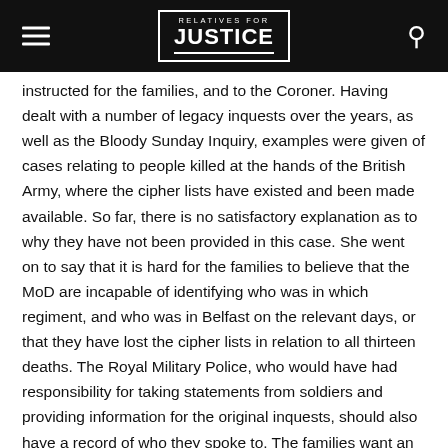RELATIVES FOR JUSTICE
instructed for the families, and to the Coroner. Having dealt with a number of legacy inquests over the years, as well as the Bloody Sunday Inquiry, examples were given of cases relating to people killed at the hands of the British Army, where the cipher lists have existed and been made available. So far, there is no satisfactory explanation as to why they have not been provided in this case. She went on to say that it is hard for the families to believe that the MoD are incapable of identifying who was in which regiment, and who was in Belfast on the relevant days, or that they have lost the cipher lists in relation to all thirteen deaths. The Royal Military Police, who would have had responsibility for taking statements from soldiers and providing information for the original inquests, should also have a record of who they spoke to. The families want an MoD witnesses to be called to